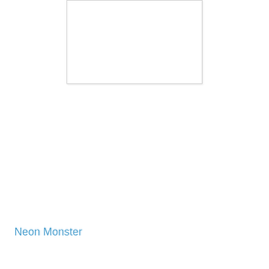[Figure (other): White rectangular image placeholder with light gray border, showing blank/white content area]
Neon Monster
[Figure (photo): Photograph of two men posing together, one bald wearing glasses and a black t-shirt smiling, another man behind him, taken in what appears to be a store or gym setting]